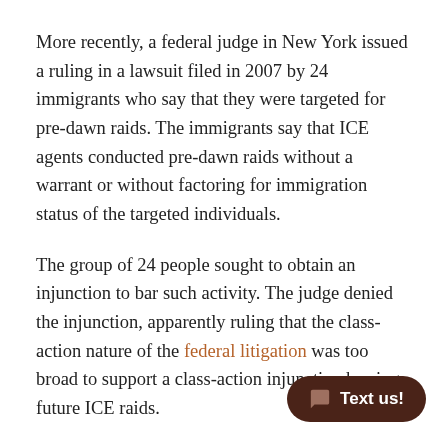More recently, a federal judge in New York issued a ruling in a lawsuit filed in 2007 by 24 immigrants who say that they were targeted for pre-dawn raids. The immigrants say that ICE agents conducted pre-dawn raids without a warrant or without factoring for immigration status of the targeted individuals.
The group of 24 people sought to obtain an injunction to bar such activity. The judge denied the injunction, apparently ruling that the class-action nature of the federal litigation was too broad to support a class-action injunction barring future ICE raids.
The judge says that the ruling does not preclude class certification for damages, but is confined to the